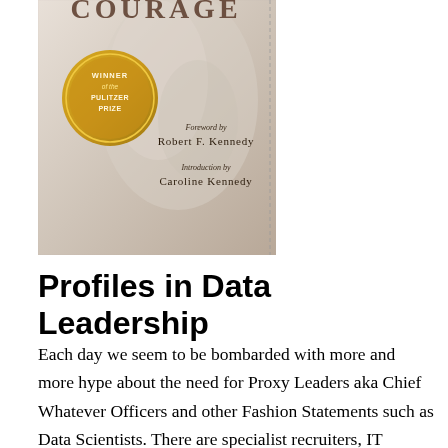[Figure (illustration): Book cover of 'Profiles in Courage' with foreword by Robert F. Kennedy and introduction by Caroline Kennedy, featuring a Pulitzer Prize winner medallion]
Profiles in Data Leadership
Each day we seem to be bombarded with more and more hype about the need for Proxy Leaders aka Chief Whatever Officers and other Fashion Statements such as Data Scientists. There are specialist recruiters, IT Analysts and Conference organizers who promote these roles along with a chorus of IT people who seem to not have much respect for their boss, the CIO. Frankly, I am sick of hearing/reading all of it and in spite of my best efforts to tune out these voices out they seem to be everywhere. It appears to me that the entire vendor, analyst & pundit